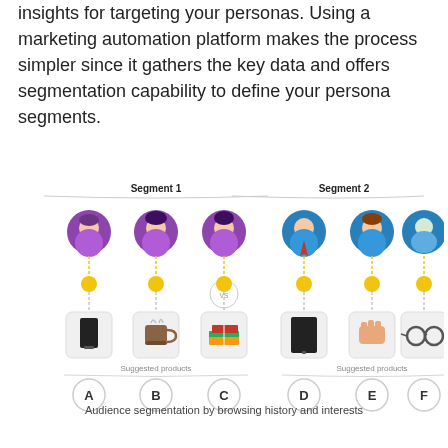insights for targeting your personas. Using a marketing automation platform makes the process simpler since it gathers the key data and offers segmentation capability to define your persona segments.
[Figure (infographic): Audience segmentation diagram showing two segments. Segment 1 (purple theme) has three persona icons connected via coins to products A, B, C (phone, coffee, books). Segment 2 (blue theme) has three persona icons connected via coins to products D, E, F (tablet, hand, glasses). The two segments are separated by a 'vs' label.]
Audience segmentation by browsing history and interests